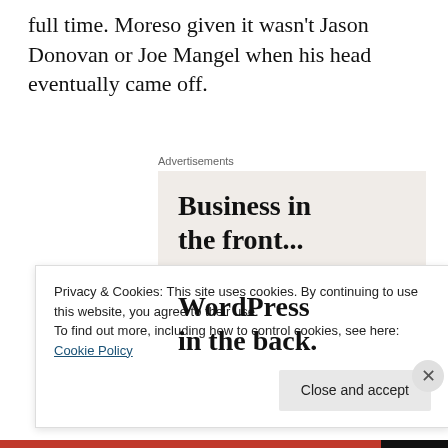full time. Moreso given it wasn't Jason Donovan or Joe Mangel when his head eventually came off.
[Figure (screenshot): WordPress advertisement banner with two sections: top section on light beige background reading 'Business in the front...' and bottom section on orange/peach gradient background reading 'WordPress in the back.' with decorative circles]
Privacy & Cookies: This site uses cookies. By continuing to use this website, you agree to their use.
To find out more, including how to control cookies, see here: Cookie Policy
Close and accept